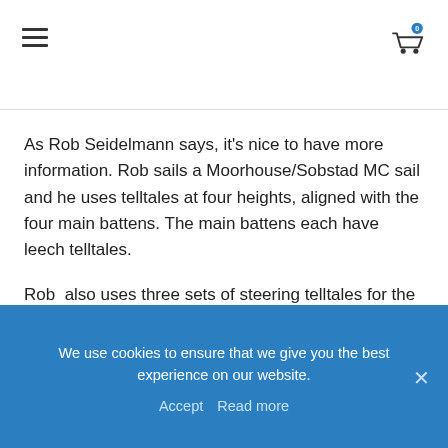Navigation header with hamburger menu and shopping cart icon
As Rob Seidelmann says, it’s nice to have more information. Rob sails a Moorhouse/Sobstad MC sail and he uses telltales at four heights, aligned with the four main battens. The main battens each have leech telltales.
Rob  also uses three sets of steering telltales for the lowest set, aligned horizontally. He claims that the set is 20″ back from the luff, but isn’t specific about this measurement. The pictures I saw show at least one of them further forward than the other sailmakers. As a laser sailor, he
We use cookies to ensure that we give you the best experience on our website.
Accept   Read more